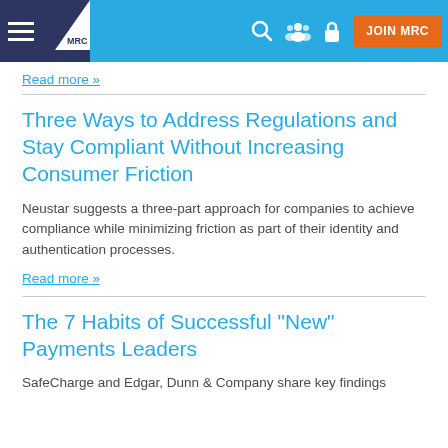MRC navigation bar with logo, search, users, lock icons and JOIN MRC button
Read more »
Three Ways to Address Regulations and Stay Compliant Without Increasing Consumer Friction
Neustar suggests a three-part approach for companies to achieve compliance while minimizing friction as part of their identity and authentication processes.
Read more »
The 7 Habits of Successful "New" Payments Leaders
SafeCharge and Edgar, Dunn & Company share key findings